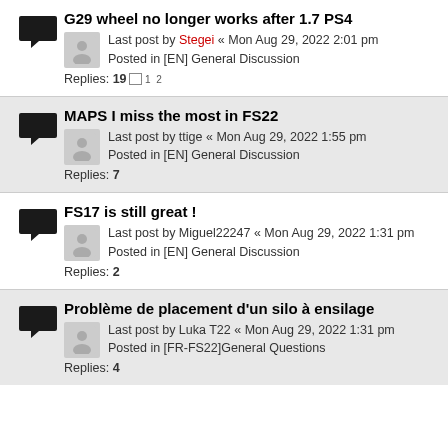G29 wheel no longer works after 1.7 PS4
Last post by Stegei « Mon Aug 29, 2022 2:01 pm
Posted in [EN] General Discussion
Replies: 19 1 2
MAPS I miss the most in FS22
Last post by ttige « Mon Aug 29, 2022 1:55 pm
Posted in [EN] General Discussion
Replies: 7
FS17 is still great !
Last post by Miguel22247 « Mon Aug 29, 2022 1:31 pm
Posted in [EN] General Discussion
Replies: 2
Problème de placement d'un silo à ensilage
Last post by Luka T22 « Mon Aug 29, 2022 1:31 pm
Posted in [FR-FS22]General Questions
Replies: 4